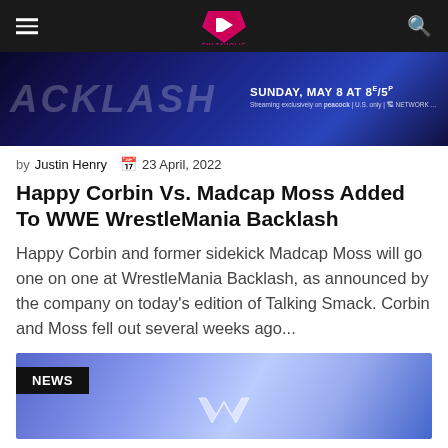Cultaholic navigation bar with hamburger menu and search icon
[Figure (photo): WWE Backlash banner: 'BACKLASH SUNDAY, MAY 8 AT 8e/5p Streaming exclusively on Peacock']
by Justin Henry  23 April, 2022
Happy Corbin Vs. Madcap Moss Added To WWE WrestleMania Backlash
Happy Corbin and former sidekick Madcap Moss will go one on one at WrestleMania Backlash, as announced by the company on today's edition of Talking Smack. Corbin and Moss fell out several weeks ago...
[Figure (photo): News banner with blue WWE arena background and NEWS label overlay]